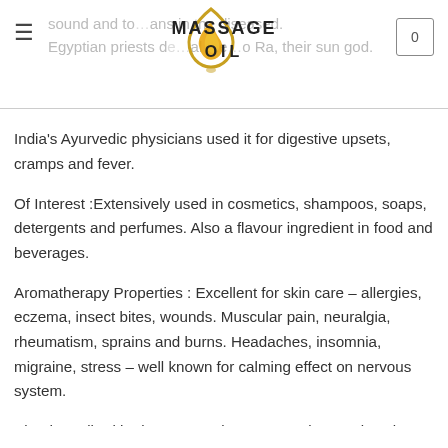MASSAGE OIL (logo header with hamburger menu and cart)
sound and to…ans in the diseased. Egyptian priests de…al the…o Ra, their sun god. India's Ayurvedic physicians used it for digestive upsets, cramps and fever. Of Interest :Extensively used in cosmetics, shampoos, soaps, detergents and perfumes. Also a flavour ingredient in food and beverages. Aromatherapy Properties : Excellent for skin care – allergies, eczema, insect bites, wounds. Muscular pain, neuralgia, rheumatism, sprains and burns. Headaches, insomnia, migraine, stress – well known for calming effect on nervous system. Blends Well With : bergamot, clary sage, oakmoss, jasmine, neroli, rose, geranium, lavender Safety Data : Very low toxicity but may trigger dermatitis in some people.
Essential oils are used for blending with carrier base oils to…